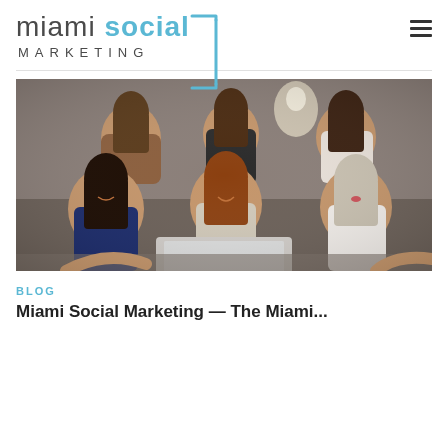[Figure (logo): Miami Social Marketing logo with bracket design. 'miami' in grey thin font, 'social' in blue bold font, 'MARKETING' in grey spaced capitals below, with a blue square bracket on the right side.]
[Figure (photo): Six young women gathered around a laptop, smiling and laughing. Three standing in the back, three in front leaning over a table. Indoor office/studio setting with a light bulb visible in the background.]
BLOG
Miami Social Marketing — The Miami...